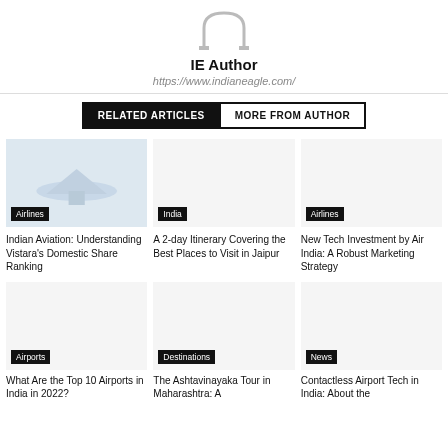[Figure (illustration): Author avatar/silhouette icon at top center]
IE Author
https://www.indianeagle.com/
RELATED ARTICLES   MORE FROM AUTHOR
[Figure (photo): Airplane image with Airlines category tag]
Indian Aviation: Understanding Vistara's Domestic Share Ranking
[Figure (photo): Blank/white image with India category tag]
A 2-day Itinerary Covering the Best Places to Visit in Jaipur
[Figure (photo): Blank/white image with Airlines category tag]
New Tech Investment by Air India: A Robust Marketing Strategy
[Figure (photo): Blank/white image with Airports category tag]
What Are the Top 10 Airports in India in 2022?
[Figure (photo): Blank/white image with Destinations category tag]
The Ashtavinayaka Tour in Maharashtra: A
[Figure (photo): Blank/white image with News category tag]
Contactless Airport Tech in India: About the